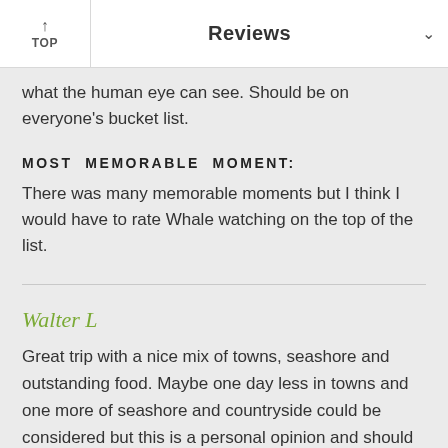↑ TOP | Reviews ∨
what the human eye can see. Should be on everyone's bucket list.
MOST MEMORABLE MOMENT:
There was many memorable moments but I think I would have to rate Whale watching on the top of the list.
Walter L
Great trip with a nice mix of towns, seashore and outstanding food. Maybe one day less in towns and one more of seashore and countryside could be considered but this is a personal opinion and should not be interpreted as my disappointment in the trip as planned.